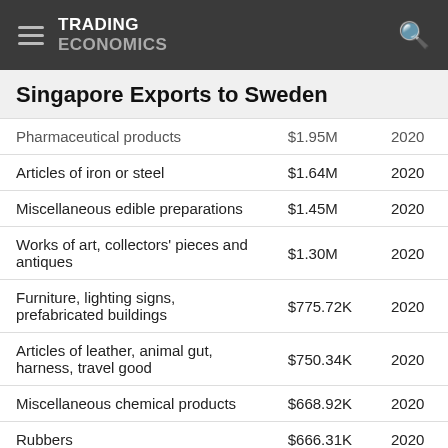TRADING ECONOMICS
Singapore Exports to Sweden
| Product | Value | Year |
| --- | --- | --- |
| Pharmaceutical products | $1.95M | 2020 |
| Articles of iron or steel | $1.64M | 2020 |
| Miscellaneous edible preparations | $1.45M | 2020 |
| Works of art, collectors' pieces and antiques | $1.30M | 2020 |
| Furniture, lighting signs, prefabricated buildings | $775.72K | 2020 |
| Articles of leather, animal gut, harness, travel good | $750.34K | 2020 |
| Miscellaneous chemical products | $668.92K | 2020 |
| Rubbers | $666.31K | 2020 |